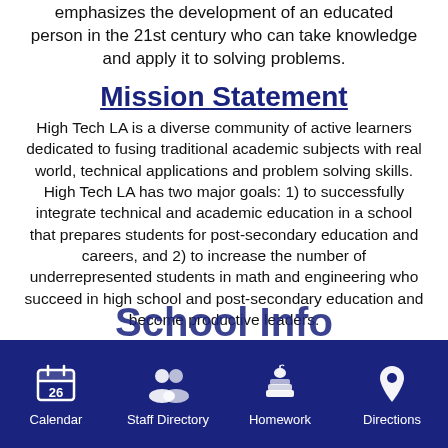emphasizes the development of an educated person in the 21st century who can take knowledge and apply it to solving problems.
Mission Statement
High Tech LA is a diverse community of active learners dedicated to fusing traditional academic subjects with real world, technical applications and problem solving skills. High Tech LA has two major goals: 1) to successfully integrate technical and academic education in a school that prepares students for post-secondary education and careers, and 2) to increase the number of underrepresented students in math and engineering who succeed in high school and post-secondary education and become productive leaders.
Calendar | Staff Directory | Homework | Directions